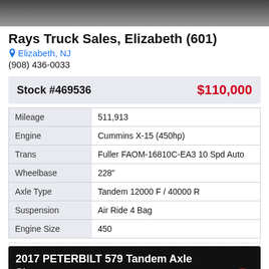[Figure (photo): Top portion of a truck photo, dark/grey background visible at top of page]
Rays Truck Sales, Elizabeth (601)
Elizabeth, NJ
(908) 436-0033
| Stock #469536 | $110,000 |
| Mileage | 511,913 |
| Engine | Cummins X-15 (450hp) |
| Trans | Fuller FAOM-16810C-EA3 10 Spd Auto |
| Wheelbase | 228" |
| Axle Type | Tandem 12000 F / 40000 R |
| Suspension | Air Ride 4 Bag |
| Engine Size | 450 |
2017 PETERBILT 579 Tandem Axle Sleeper
[Figure (photo): Bottom portion showing start of next truck listing photo]